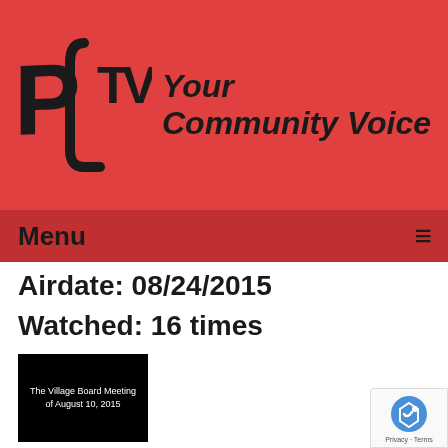[Figure (logo): PCTV logo with stylized letters P, C, TV in black on red background]
Your Community Voice
Menu ≡
Airdate: 08/24/2015
Watched: 16 times
[Figure (screenshot): Black thumbnail image with white text: The Village Board Meeting of August 10, 2015]
The Village Board Meeting of 08-10-15
Airdate: 08/10/2015